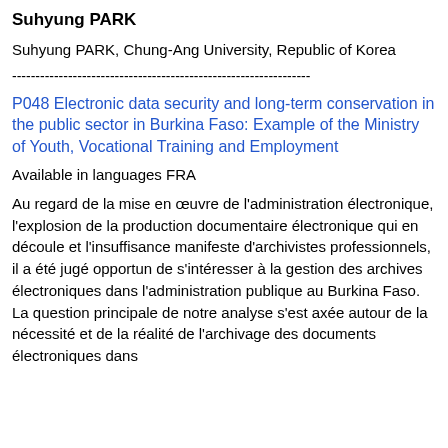Suhyung PARK
Suhyung PARK, Chung-Ang University, Republic of Korea
----------------------------------------------------------------
P048 Electronic data security and long-term conservation in the public sector in Burkina Faso: Example of the Ministry of Youth, Vocational Training and Employment
Available in languages FRA
Au regard de la mise en œuvre de l’administration électronique, l’explosion de la production documentaire électronique qui en découle et l’insuffisance manifeste d’archivistes professionnels, il a été jugé opportun de s’intéresser à la gestion des archives électroniques dans l’administration publique au Burkina Faso. La question principale de notre analyse s’est axée autour de la nécessité et de la réalité de l’archivage des documents électroniques dans